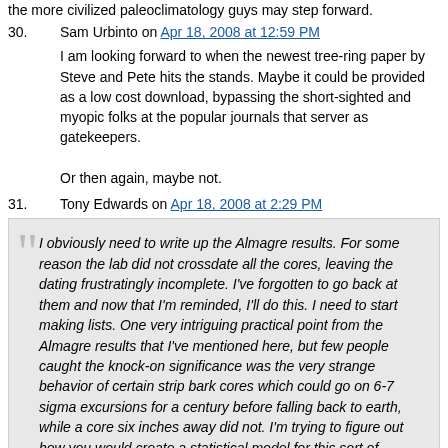the more civilized paleoclimatology guys may step forward.
30. Sam Urbinto on Apr 18, 2008 at 12:59 PM
I am looking forward to when the newest tree-ring paper by Steve and Pete hits the stands. Maybe it could be provided as a low cost download, bypassing the short-sighted and myopic folks at the popular journals that server as gatekeepers.
Or then again, maybe not.
31. Tony Edwards on Apr 18, 2008 at 2:29 PM
I obviously need to write up the Almagre results. For some reason the lab did not crossdate all the cores, leaving the dating frustratingly incomplete. I've forgotten to go back at them and now that I'm reminded, I'll do this. I need to start making lists. One very intriguing practical point from the Almagre results that I've mentioned here, but few people caught the knock-on significance was the very strange behavior of certain strip bark cores which could go on 6-7 sigma excursions for a century before falling back to earth, while a core six inches away did not. I'm trying to figure out how you would create a statistical model for this sort of behavior. It has a practical effect because if you're